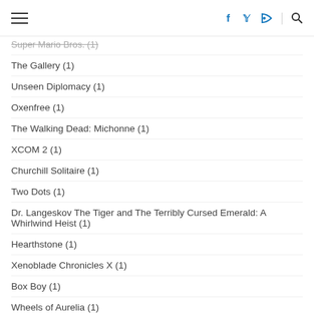[hamburger menu] [social icons: facebook, twitter, rss] [search]
Super Mario Bros. (1)
The Gallery (1)
Unseen Diplomacy (1)
Oxenfree (1)
The Walking Dead: Michonne (1)
XCOM 2 (1)
Churchill Solitaire (1)
Two Dots (1)
Dr. Langeskov The Tiger and The Terribly Cursed Emerald: A Whirlwind Heist (1)
Hearthstone (1)
Xenoblade Chronicles X (1)
Box Boy (1)
Wheels of Aurelia (1)